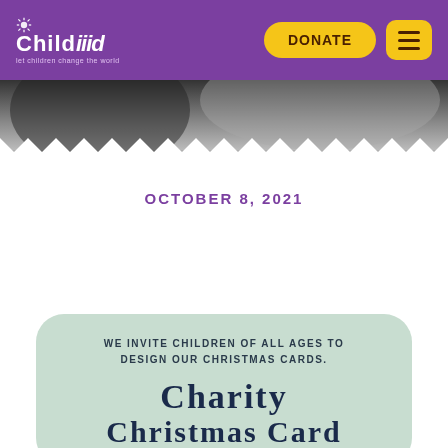[Figure (logo): Childaid logo on purple header background with sun/star icon, white text reading Childaid with small subtitle text]
[Figure (photo): Black and white photo strip of a child's face at top, with zigzag bottom edge]
OCTOBER 8, 2021
[Figure (illustration): Mint green rounded card with text: WE INVITE CHILDREN OF ALL AGES TO DESIGN OUR CHRISTMAS CARDS. CHARITY CHRISTMAS CARD...]